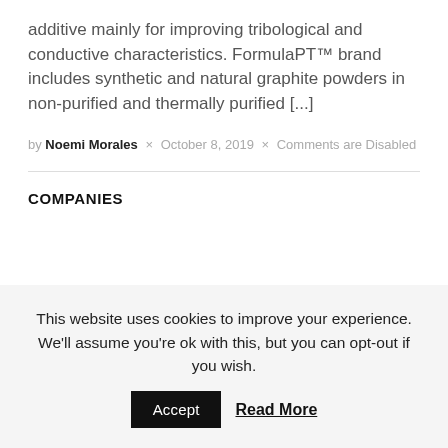additive mainly for improving tribological and conductive characteristics. FormulaPT™ brand includes synthetic and natural graphite powders in non-purified and thermally purified [...]
by Noemi Morales × October 8, 2019 × Comments are Disabled
COMPANIES
This website uses cookies to improve your experience. We'll assume you're ok with this, but you can opt-out if you wish.